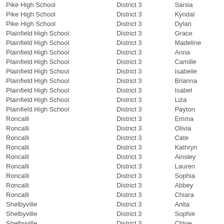| School | District | Name |
| --- | --- | --- |
| Pike High School | District 3 | Saniia |
| Pike High School | District 3 | Kyndal |
| Pike High School | District 3 | Dylan |
| Plainfield High School | District 3 | Grace |
| Plainfield High School | District 3 | Madeline |
| Plainfield High School | District 3 | Anna |
| Plainfield High School | District 3 | Camille |
| Plainfield High School | District 3 | Isabelle |
| Plainfield High School | District 3 | Brianna |
| Plainfield High School | District 3 | Isabel |
| Plainfield High School | District 3 | Liza |
| Plainfield High School | District 3 | Payton |
| Roncalli | District 3 | Emma |
| Roncalli | District 3 | Olivia |
| Roncalli | District 3 | Cate |
| Roncalli | District 3 | Kathryn |
| Roncalli | District 3 | Ainsley |
| Roncalli | District 3 | Lauren |
| Roncalli | District 3 | Sophia |
| Roncalli | District 3 | Abbey |
| Roncalli | District 3 | Chiara |
| Shelbyville | District 3 | Anita |
| Shelbyville | District 3 | Sophie |
| Shelbyville | District 3 | Chloe |